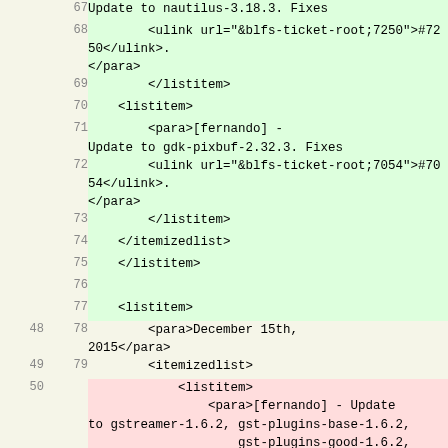| col-a | col-b | code |
| --- | --- | --- |
|  | 67 | Update to nautilus-3.18.3. Fixes |
|  | 68 |         <ulink url="&blfs-ticket-root;7250">#7250</ulink>.</para> |
|  | 69 |         </listitem> |
|  | 70 |     <listitem> |
|  | 71 |         <para>[fernando] - Update to gdk-pixbuf-2.32.3. Fixes |
|  | 72 |         <ulink url="&blfs-ticket-root;7054">#7054</ulink>.</para> |
|  | 73 |         </listitem> |
|  | 74 |     </itemizedlist> |
|  | 75 |     </listitem> |
|  | 76 |  |
|  | 77 |     <listitem> |
| 48 | 78 |         <para>December 15th, 2015</para> |
| 49 | 79 |         <itemizedlist> |
| 50 |  |             <listitem> |
| 51 |  |                 <para>[fernando] - Update to gstreamer-1.6.2, gst-plugins-base-1.6.2,
                    gst-plugins-good-1.6.2,
                    gst-plugins-bad-1.6.2, gst- |